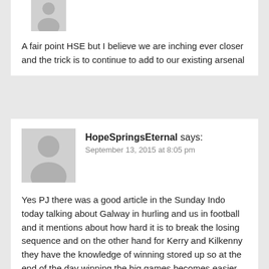[Figure (illustration): Generic user avatar icon (silhouette of a person) in gray, partially visible at top of page]
A fair point HSE but I believe we are inching ever closer and the trick is to continue to add to our existing arsenal
[Figure (illustration): Generic user avatar icon (silhouette of a person) in gray]
HopeSpringsEternal says: September 13, 2015 at 8:05 pm
Yes PJ there was a good article in the Sunday Indo today talking about Galway in hurling and us in football and it mentions about how hard it is to break the losing sequence and on the other hand for Kerry and Kilkenny they have the knowledge of winning stored up so at the end of the day winning the big games becomes easier for them. They probably expect to win while we hope to win. For us Stephen Coen who was captain of the 2013 winning minor team should be a good addition next year as he has the right mentality.